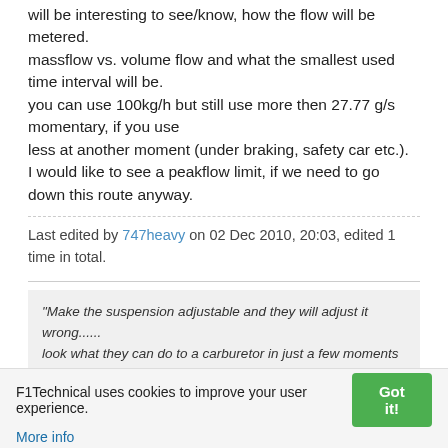will be interesting to see/know, how the flow will be metered.
massflow vs. volume flow and what the smallest used time interval will be.
you can use 100kg/h but still use more then 27.77 g/s momentary, if you use
less at another moment (under braking, safety car etc.).
I would like to see a peakflow limit, if we need to go down this route anyway.
Last edited by 747heavy on 02 Dec 2010, 20:03, edited 1 time in total.
"Make the suspension adjustable and they will adjust it wrong...... look what they can do to a carburetor in just a few moments of stupidity with a screwdriver." - Colin Chapman
"Simplicity is the ultimate sophistication." - Leonardo da Vinci
F1Technical uses cookies to improve your user experience.
More info